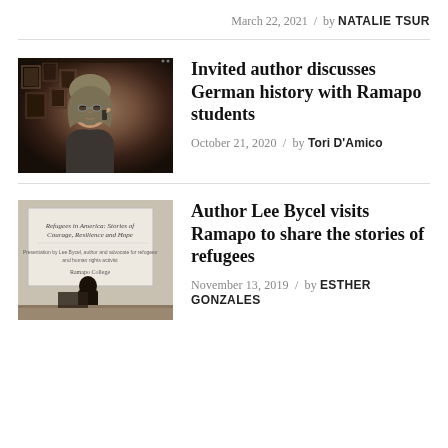March 22, 2021 / by NATALIE TSUR
[Figure (photo): Screenshot of a video call showing a man with glasses and long hair in a dark room with framed pictures on the wall]
Invited author discusses German history with Ramapo students
October 21, 2020 / by Tori D'Amico
[Figure (photo): Photo of a presentation slide screen showing 'Refugees in America: Stories of Courage, Resilience and Hope' with a person seated in front]
Author Lee Bycel visits Ramapo to share the stories of refugees
November 13, 2019 / by ESTHER GONZALES